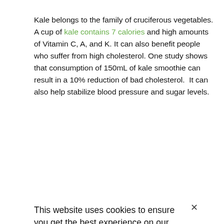Kale belongs to the family of cruciferous vegetables. A cup of kale contains 7 calories and high amounts of Vitamin C, A, and K. It can also benefit people who suffer from high cholesterol. One study shows that consumption of 150mL of kale smoothie can result in a 10% reduction of bad cholesterol. It can also help stabilize blood pressure and sugar levels.
Broccoli
Broccoli is a relative to cabbage and kale. A bowl of broccoli only contains 55 calories, but it provides your full daily requirement for Vitamin K. It also contains twice the daily recommended amount of Vitamin C for healthier immune system function. Broccoli is also considered as a superfood and it can reduce the risk of developing cancer due to the compounds sulforaphane. Animal studies noted that this compound can reduce the size as well as a number of breast cancer cells in the body.
This website uses cookies to ensure you get the best experience on our website.
Learn more
Decline
Accept